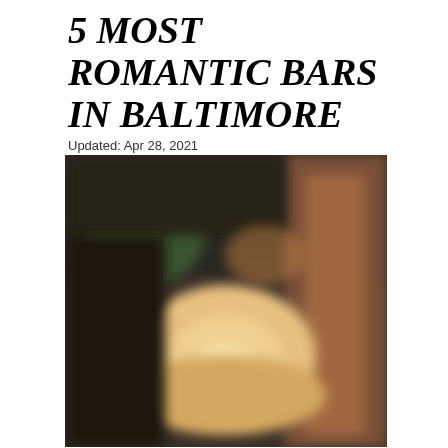5 MOST ROMANTIC BARS IN BALTIMORE
Updated: Apr 28, 2021
[Figure (photo): Blurred interior photo of a bar with warm lighting, showing a glowing candle or lamp on a table in the foreground and dark bar interior with greenery in the background.]